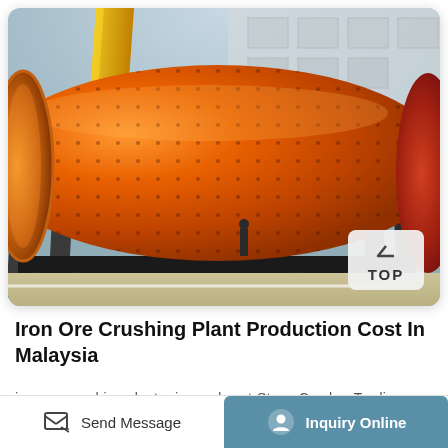[Figure (photo): Large orange industrial ball mill or cylindrical grinding machine photographed outdoors in a factory/industrial yard. The machine is a massive orange cylinder with bolt patterns visible on its surface, mounted on a support structure. Yellow crane arm visible in background, industrial building behind. A 'TOP' navigation button is overlaid at bottom right of the image.]
Iron Ore Crushing Plant Production Cost In Malaysia
iron ore crushing plant price and cost-Stone Crusher Trading. SCMis the leading iron ore crusher seller all